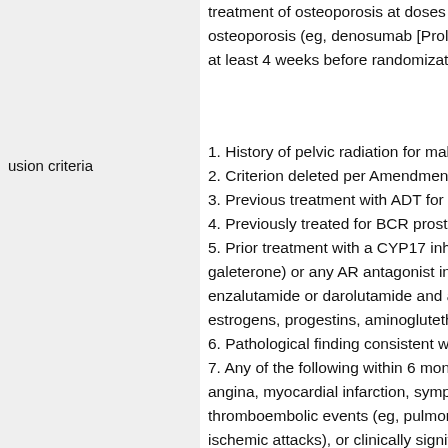treatment of osteoporosis at doses and osteoporosis (eg, denosumab [Prolia®]; at least 4 weeks before randomization.
usion criteria
1. History of pelvic radiation for malignant
2. Criterion deleted per Amendment 1.
3. Previous treatment with ADT for prosta
4. Previously treated for BCR prostate ca
5. Prior treatment with a CYP17 inhibitor galeterone) or any AR antagonist includi enzalutamide or darolutamide and any o estrogens, progestins, aminoglutethimide
6. Pathological finding consistent with sm
7. Any of the following within 6 months p angina, myocardial infarction, symptoma thromboembolic events (eg, pulmonary e ischemic attacks), or clinically significant Class II to IV heart disease; uncompliact
8. Use of 5-alpha-reductase inhibitor ≤4 w
9. Use of investigational agent ≤4 weeks
10. Not applicable; criterion numbering o
11. Prior chemotherapy for prostate canc